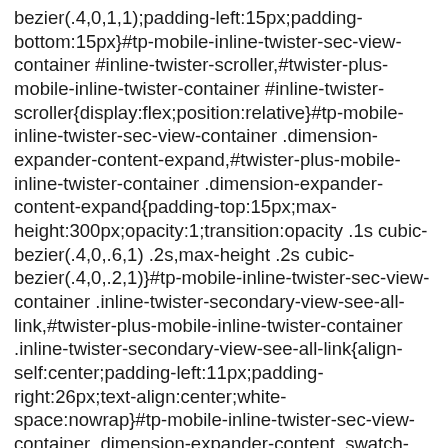bezier(.4,0,1,1);padding-left:15px;padding-bottom:15px}#tp-mobile-inline-twister-sec-view-container #inline-twister-scroller,#twister-plus-mobile-inline-twister-container #inline-twister-scroller{display:flex;position:relative}#tp-mobile-inline-twister-sec-view-container .dimension-expander-content-expand,#twister-plus-mobile-inline-twister-container .dimension-expander-content-expand{padding-top:15px;max-height:300px;opacity:1;transition:opacity .1s cubic-bezier(.4,0,.6,1) .2s,max-height .2s cubic-bezier(.4,0,.2,1)}#tp-mobile-inline-twister-sec-view-container .inline-twister-secondary-view-see-all-link,#twister-plus-mobile-inline-twister-container .inline-twister-secondary-view-see-all-link{align-self:center;padding-left:11px;padding-right:26px;text-align:center;white-space:nowrap}#tp-mobile-inline-twister-sec-view-container .dimension-expander-content .swatch-text,#twister-plus-mobile-inline-twister-container .dimension-expander-content .swatch-text{white-space:normal}#tp-mobile-inline-twister-sec-view-container .inline-twister-mini-right-padding,#twister-plus-mobile-inline-twister-container .inline-twister-mini-right-padding{padding-right:6px}#tp-mobile-inline-